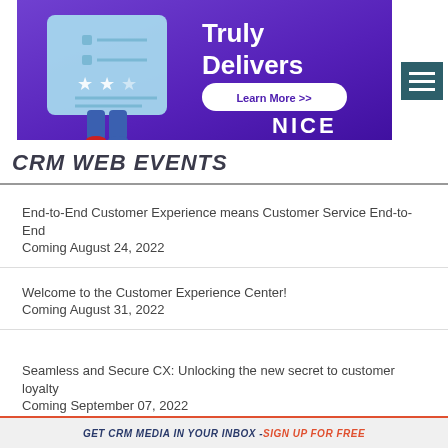[Figure (illustration): Advertisement banner for NICE with purple background, illustration of a person with a checklist/rating stars graphic on left, 'Truly Delivers' text and 'Learn More >>' button on right, NICE logo at bottom right]
CRM WEB EVENTS
End-to-End Customer Experience means Customer Service End-to-End
Coming August 24, 2022
Welcome to the Customer Experience Center!
Coming August 31, 2022
Seamless and Secure CX: Unlocking the new secret to customer loyalty
Coming September 07, 2022
GET CRM MEDIA IN YOUR INBOX - SIGN UP FOR FREE